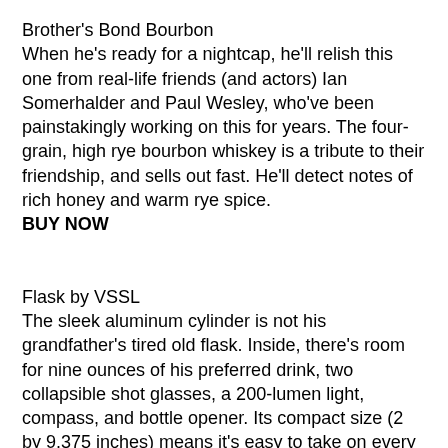Brother's Bond Bourbon
When he's ready for a nightcap, he'll relish this one from real-life friends (and actors) Ian Somerhalder and Paul Wesley, who've been painstakingly working on this for years. The four-grain, high rye bourbon whiskey is a tribute to their friendship, and sells out fast. He'll detect notes of rich honey and warm rye spice.
BUY NOW
Flask by VSSL
The sleek aluminum cylinder is not his grandfather's tired old flask. Inside, there's room for nine ounces of his preferred drink, two collapsible shot glasses, a 200-lumen light, compass, and bottle opener. Its compact size (2 by 9.375 inches) means it's easy to take on every single outdoor outing.